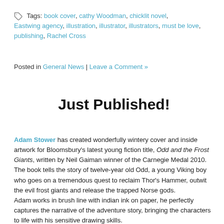Tags: book cover, cathy Woodman, chicklit novel, Eastwing agency, illustration, illustrator, illustrators, must be love, publishing, Rachel Cross
Posted in General News | Leave a Comment »
Just Published!
Adam Stower has created wonderfully wintery cover and inside artwork for Bloomsbury's latest young fiction title, Odd and the Frost Giants, written by Neil Gaiman winner of the Carnegie Medal 2010. The book tells the story of twelve-year old Odd, a young Viking boy who goes on a tremendous quest to reclaim Thor's Hammer, outwit the evil frost giants and release the trapped Norse gods. Adam works in brush line with indian ink on paper, he perfectly captures the narrative of the adventure story, bringing the characters to life with his sensitive drawing skills.